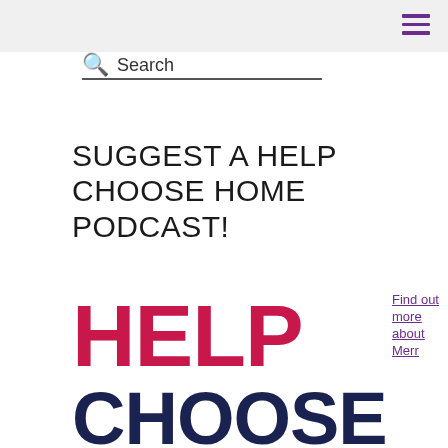Search
SUGGEST A HELP CHOOSE HOME PODCAST!
[Figure (logo): Help Choose Home logo with HELP in large red text, CHOOSE in dark navy text, and HOME partially visible in purple text]
Find out more about Merr